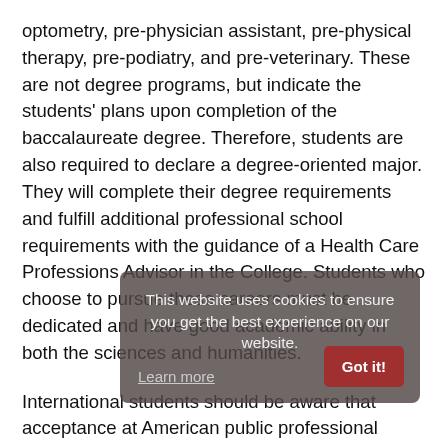optometry, pre-physician assistant, pre-physical therapy, pre-podiatry, and pre-veterinary. These are not degree programs, but indicate the students' plans upon completion of the baccalaureate degree. Therefore, students are also required to declare a degree-oriented major. They will complete their degree requirements and fulfill additional professional school requirements with the guidance of a Health Care Professions Advisor in the College. Students who choose to pursue these careers must be dedicated and have good academic ability in both the sciences and humanities.
International students should be aware that acceptance at American public professional schools is difficult. As a general rule, no financial aid is available for non-citizens. A small number of international students are accepted at private schools, which are costly.
Students pursuing a career in veterinary medicine have the option of majoring in the School of Biological...